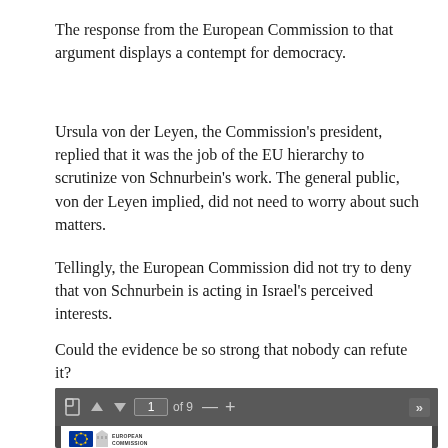The response from the European Commission to that argument displays a contempt for democracy.
Ursula von der Leyen, the Commission’s president, replied that it was the job of the EU hierarchy to scrutinize von Schnurbein’s work. The general public, von der Leyen implied, did not need to worry about such matters.
Tellingly, the European Commission did not try to deny that von Schnurbein is acting in Israel’s perceived interests.
Could the evidence be so strong that nobody can refute it?
[Figure (screenshot): PDF viewer toolbar showing page 1 of 9, with navigation buttons, and below it a partial view of a European Commission document with the official EU/European Commission logo.]